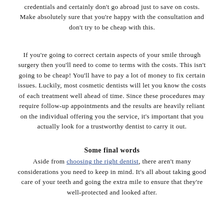credentials and certainly don't go abroad just to save on costs. Make absolutely sure that you're happy with the consultation and don't try to be cheap with this.
If you're going to correct certain aspects of your smile through surgery then you'll need to come to terms with the costs. This isn't going to be cheap! You'll have to pay a lot of money to fix certain issues. Luckily, most cosmetic dentists will let you know the costs of each treatment well ahead of time. Since these procedures may require follow-up appointments and the results are heavily reliant on the individual offering you the service, it's important that you actually look for a trustworthy dentist to carry it out.
Some final words
Aside from choosing the right dentist, there aren't many considerations you need to keep in mind. It's all about taking good care of your teeth and going the extra mile to ensure that they're well-protected and looked after.